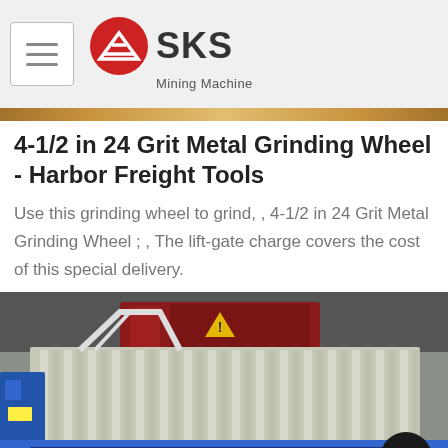SKS Mining Machine
4-1/2 in 24 Grit Metal Grinding Wheel - Harbor Freight Tools
Use this grinding wheel to grind, , 4-1/2 in 24 Grit Metal Grinding Wheel ; , The lift-gate charge covers the cost of this special delivery.
[Figure (photo): Industrial filter press machine with blue frame and rows of white filter plates in a factory setting]